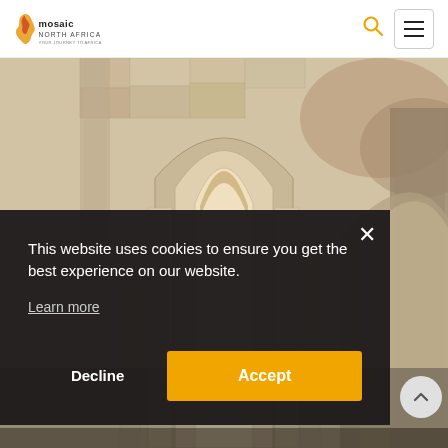Mosaic North Africa
[Figure (photo): Interior architectural photo of a mosque or historic building showing arched stone columns and ornate carved walls]
This website uses cookies to ensure you get the best experience on our website.
Learn more
Decline
Accept